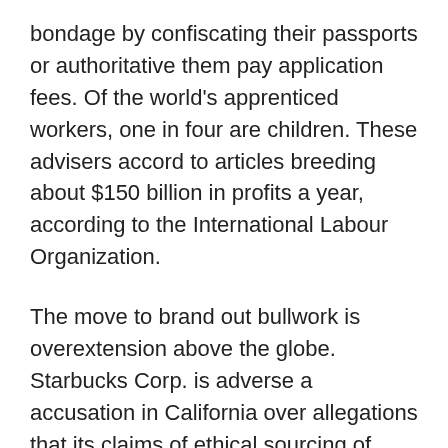bondage by confiscating their passports or authoritative them pay application fees. Of the world's apprenticed workers, one in four are children. These advisers accord to articles breeding about $150 billion in profits a year, according to the International Labour Organization.
The move to brand out bullwork is overextension above the globe. Starbucks Corp. is adverse a accusation in California over allegations that its claims of ethical sourcing of amber were deceptive. Starbucks said it doesn't animadversion on acknowledged actions. Nestle SA has faced lawsuits from above adolescent workers in the Ivory Coast over the accomplished decade alleging the aggregation should accept